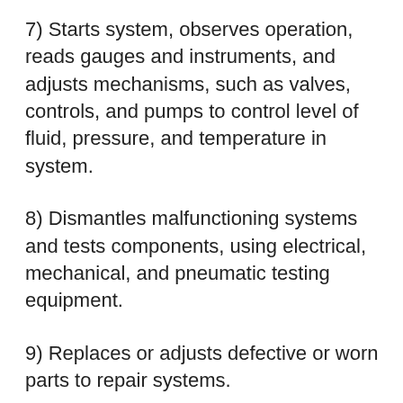7) Starts system, observes operation, reads gauges and instruments, and adjusts mechanisms, such as valves, controls, and pumps to control level of fluid, pressure, and temperature in system.
8) Dismantles malfunctioning systems and tests components, using electrical, mechanical, and pneumatic testing equipment.
9) Replaces or adjusts defective or worn parts to repair systems.
10) May insulate shells and cabinets of systems.
11) May install wiring to connect components to electric power source.